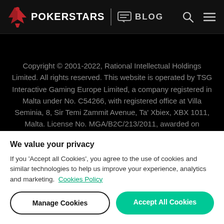POKERSTARS | BLOG
Copyright © 2001-2022, Rational Intellectual Holdings Limited. All rights reserved. This website is operated by TSG Interactive Gaming Europe Limited, a company registered in Malta under No. C54266, with registered office at Villa Seminia, 8, Sir Temi Zammit Avenue, Ta' Xbiex, XBX 1011, Malta. License No. MGA/B2C/213/2011, awarded on
We value your privacy
If you 'Accept all Cookies', you agree to the use of cookies and similar technologies to help us improve your experience, analytics and marketing.  Cookies Policy